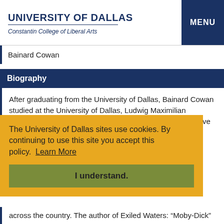UNIVERSITY OF DALLAS
Constantin College of Liberal Arts
Bainard Cowan
Biography
After graduating from the University of Dallas, Bainard Cowan studied at the University of Dallas, Ludwig Maximilian University in Munich, and Yale University (Ph.D. comparative literature) before teaching English for over thirty years at the Constantin College of Liberal Arts, University of Dallas in ... tenure ... given ... utes across the country. The author of Exiled Waters: "Moby-Dick"
The University of Dallas sites use cookies. By continuing to use this site you accept this policy.  Learn More
I understand.